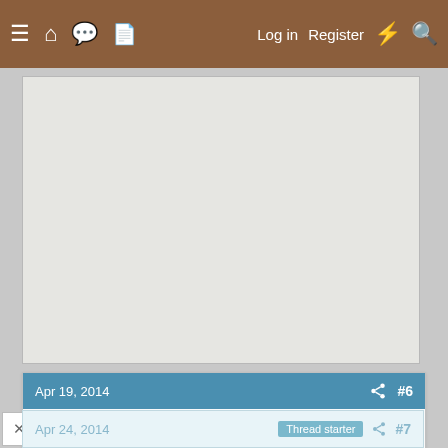≡ 🏠 💬 📄   Log in   Register   ⚡ 🔍
[Figure (other): Advertisement placeholder box, light gray background]
Apr 19, 2014   #6
TaylorHobbyFarms
Songster  9 Years
It sounds like everything worked out just right. Good job
↩ Reply
Apr 24, 2014   Thread starter   #7